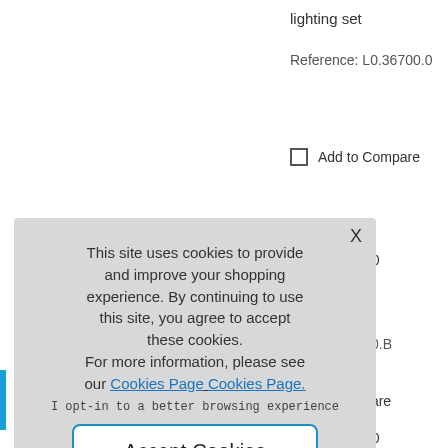lighting set
Reference: L0.36700.0
Add to Compare
00.B LITE 750
tungsten
; set
nce: L0.36700.B
to Compare
00.E LITE 750
This site uses cookies to provide and improve your shopping experience. By continuing to use this site, you agree to accept these cookies.
For more information, please see our Cookies Page Cookies Page.

I opt-in to a better browsing experience
Accept Cookies